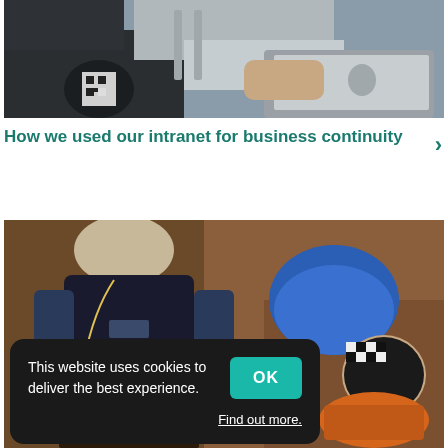[Figure (photo): Overhead view of a person sitting on a dark couch using a MacBook laptop, with a small table nearby holding a notebook with a QR code pattern.]
How we used our intranet for business continuity
[Figure (photo): Overhead view of workers in a workshop/studio setting; one person wearing a black vest and earphones bends over a table, another person in a patterned cap works on an orange object near a blue helmet on the floor.]
This website uses cookies to deliver the best experience.
Find out more.